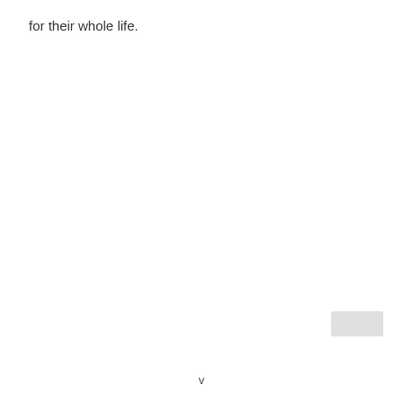for their whole life.
[Figure (other): Small light gray rectangle, possibly a button or image placeholder, in the lower right area of the page.]
v